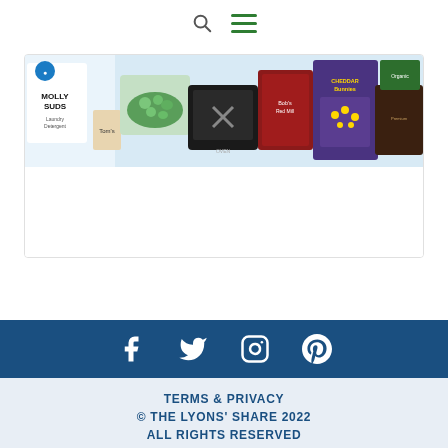Search and Menu navigation icons
[Figure (photo): Banner image showing various consumer products including Molly Suds laundry detergent, Toms, a black microwave/oven appliance, Bob's Red Mill, cheddar crackers, and other grocery/household items displayed together]
TERMS & PRIVACY
© THE LYONS' SHARE 2022
ALL RIGHTS RESERVED
The Lyons' Share Wellness
[Figure (infographic): Social media icons footer bar: Facebook, Twitter, Instagram, Pinterest icons in white on dark blue background]